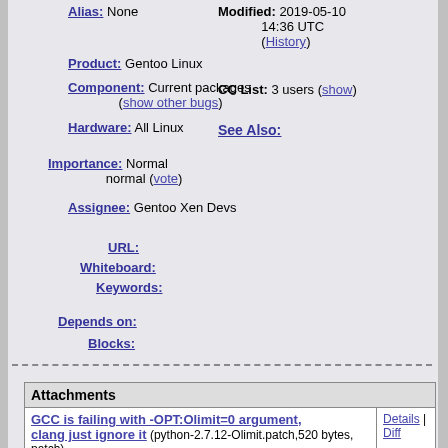Alias: None
Modified: 2019-05-10 14:36 UTC (History)
Product: Gentoo Linux
CC List: 3 users (show)
Component: Current packages (show other bugs)
See Also:
Hardware: All Linux
Importance: Normal normal (vote)
Assignee: Gentoo Xen Devs
URL:
Whiteboard:
Keywords:
Depends on:
Blocks:
| Attachments |  |
| --- | --- |
| GCC is failing with -OPT:Olimit=0 argument, clang just ignore it (python-2.7.12-Olimit.patch,520 bytes, patch)
2016-10-10 20:54 UTC, Jiři Moravec | Details | Diff |